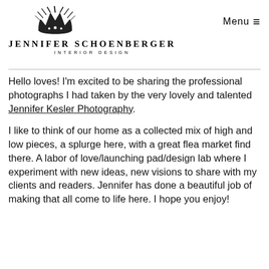JENNIFER SCHOENBERGER INTERIOR DESIGN  Menu ≡
Hello loves! I'm excited to be sharing the professional photographs I had taken by the very lovely and talented Jennifer Kesler Photography.
I like to think of our home as a collected mix of high and low pieces, a splurge here, with a great flea market find there. A labor of love/launching pad/design lab where I experiment with new ideas, new visions to share with my clients and readers. Jennifer has done a beautiful job of making that all come to life here. I hope you enjoy!